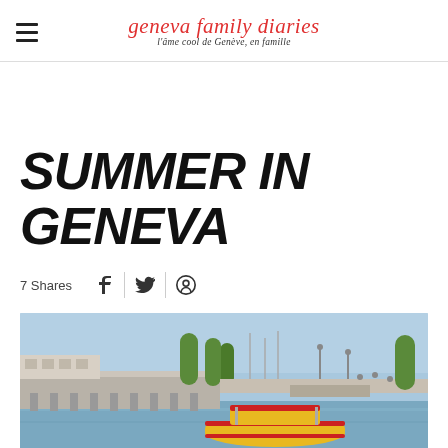geneva family diaries — l'âme cool de Genève, en famille
SUMMER IN GENEVA
7 Shares
[Figure (photo): A yellow and red wooden boat on Lake Geneva with a pier and trees in the background on a summer day]